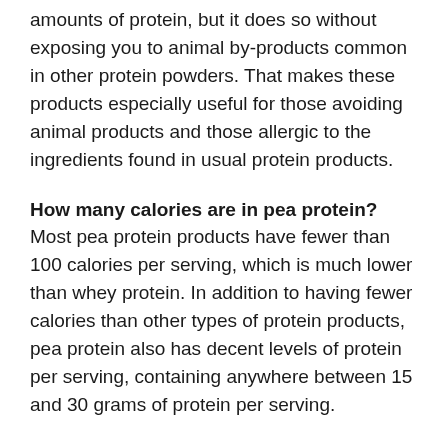amounts of protein, but it does so without exposing you to animal by-products common in other protein powders. That makes these products especially useful for those avoiding animal products and those allergic to the ingredients found in usual protein products.
How many calories are in pea protein? Most pea protein products have fewer than 100 calories per serving, which is much lower than whey protein. In addition to having fewer calories than other types of protein products, pea protein also has decent levels of protein per serving, containing anywhere between 15 and 30 grams of protein per serving.
Is pea protein better than whey protein? After an eight-week study during which participants engaged in